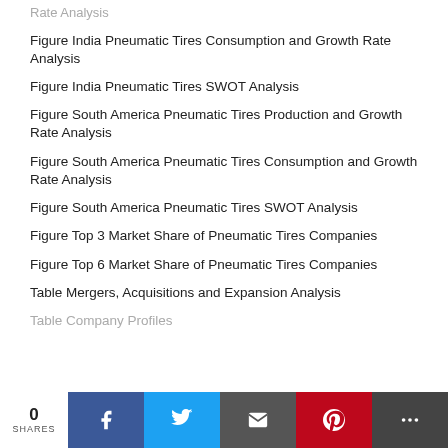Figure India Pneumatic Tires Consumption and Growth Rate Analysis
Figure India Pneumatic Tires SWOT Analysis
Figure South America Pneumatic Tires Production and Growth Rate Analysis
Figure South America Pneumatic Tires Consumption and Growth Rate Analysis
Figure South America Pneumatic Tires SWOT Analysis
Figure Top 3 Market Share of Pneumatic Tires Companies
Figure Top 6 Market Share of Pneumatic Tires Companies
Table Mergers, Acquisitions and Expansion Analysis
Table Company Profiles